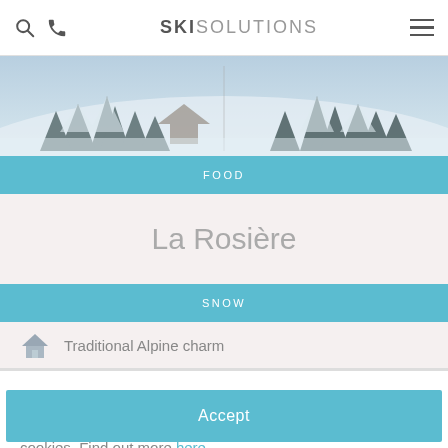SKI SOLUTIONS
[Figure (photo): Aerial winter mountain scene with snow-covered trees and slopes]
FOOD
La Rosière
SNOW
Traditional Alpine charm
We use cookies to give you a superior browsing experience. By continuing to use the site you are agreeing to our use of cookies. Find out more here.
Accept